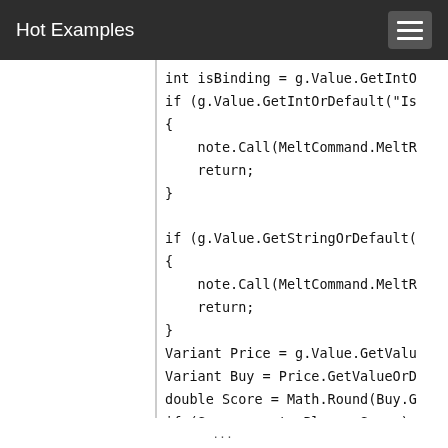Hot Examples
[Figure (screenshot): Code snippet showing C# code with int isBinding, if statements, note.Call(MeltCommand.MeltR...), return, Variant Price, Variant Buy, double Score, if (Score > note.Player.Score)]